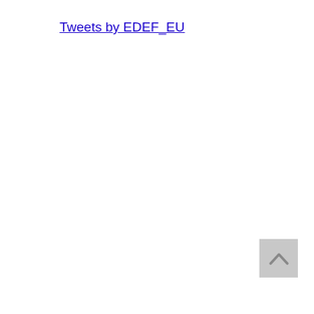Tweets by EDEF_EU
[Figure (other): Back to top button with upward-pointing chevron arrow on grey background, positioned at bottom-right of page]